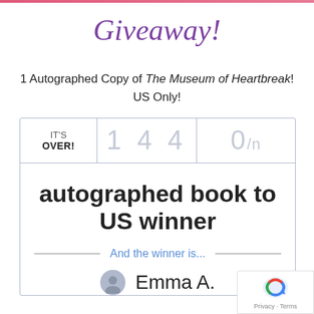Giveaway!
1 Autographed Copy of The Museum of Heartbreak! US Only!
| IT'S OVER! | 144 | 0/n |
| --- | --- | --- |
autographed book to US winner
And the winner is...
Emma A.